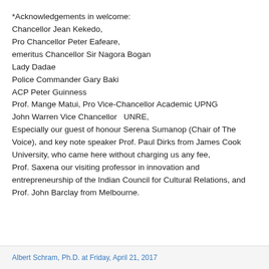*Acknowledgements in welcome:
Chancellor Jean Kekedo,
Pro Chancellor Peter Eafeare,
emeritus Chancellor Sir Nagora Bogan
Lady Dadae
Police Commander Gary Baki
ACP Peter Guinness
Prof. Mange Matui, Pro Vice-Chancellor Academic UPNG
John Warren Vice Chancellor  UNRE,
Especially our guest of honour Serena Sumanop (Chair of The Voice), and key note speaker Prof. Paul Dirks from James Cook University, who came here without charging us any fee,
Prof. Saxena our visiting professor in innovation and entrepreneurship of the Indian Council for Cultural Relations, and
Prof. John Barclay from Melbourne.
Albert Schram, Ph.D. at Friday, April 21, 2017